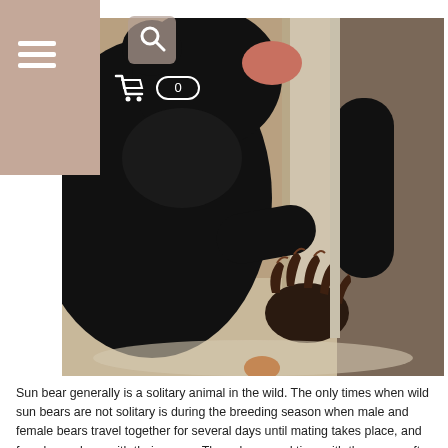[Figure (photo): A black sun bear pressing against a concrete or wooden enclosure wall, reaching through a gap with its paw showing prominent claws. Close-up shot showing the bear's dark fur, face, and large curved claws.]
Sun bear generally is a solitary animal in the wild. The only times when wild sun bears are not solitary is during the breeding season when male and female bears travel together for several days until mating takes place, and female sun bear with their young. They also spend time with the young after f